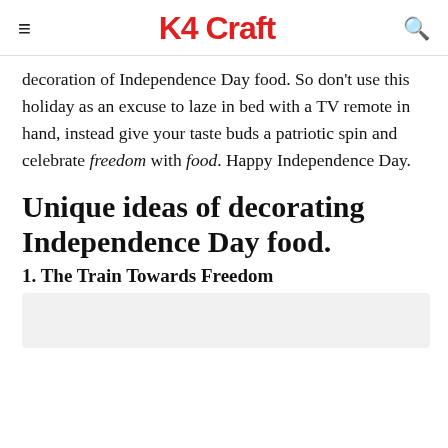K4 Craft
decoration of Independence Day food. So don't use this holiday as an excuse to laze in bed with a TV remote in hand, instead give your taste buds a patriotic spin and celebrate freedom with food. Happy Independence Day.
Unique ideas of decorating Independence Day food.
1. The Train Towards Freedom
[Figure (photo): Image placeholder at bottom of page]